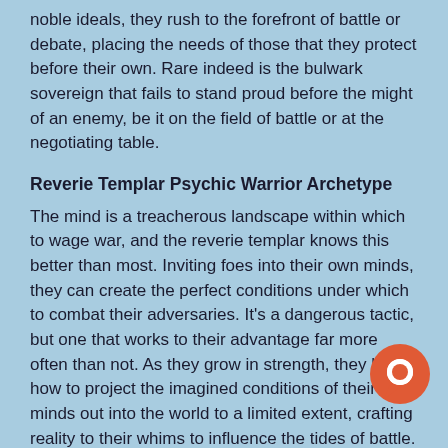noble ideals, they rush to the forefront of battle or debate, placing the needs of those that they protect before their own. Rare indeed is the bulwark sovereign that fails to stand proud before the might of an enemy, be it on the field of battle or at the negotiating table.
Reverie Templar Psychic Warrior Archetype
The mind is a treacherous landscape within which to wage war, and the reverie templar knows this better than most. Inviting foes into their own minds, they can create the perfect conditions under which to combat their adversaries. It's a dangerous tactic, but one that works to their advantage far more often than not. As they grow in strength, they learn how to project the imagined conditions of their minds out into the world to a limited extent, crafting reality to their whims to influence the tides of battle.
Verdant Metamorph Vitalist Archetype
Most vitalists use their powers to heal, but that is not the only function of their particular talents. There are others